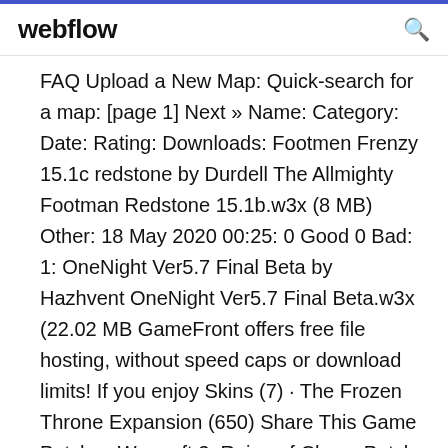webflow
FAQ Upload a New Map: Quick-search for a map: [page 1] Next » Name: Category: Date: Rating: Downloads: Footmen Frenzy 15.1c redstone by Durdell The Allmighty Footman Redstone 15.1b.w3x (8 MB) Other: 18 May 2020 00:25: 0 Good 0 Bad: 1: OneNight Ver5.7 Final Beta by Hazhvent OneNight Ver5.7 Final Beta.w3x (22.02 MB GameFront offers free file hosting, without speed caps or download limits! If you enjoy Skins (7) · The Frozen Throne Expansion (650) Share This Game Patches Warcraft 3: Reign of Chaos Patch 1.26a (Czech) 1.24e Czech